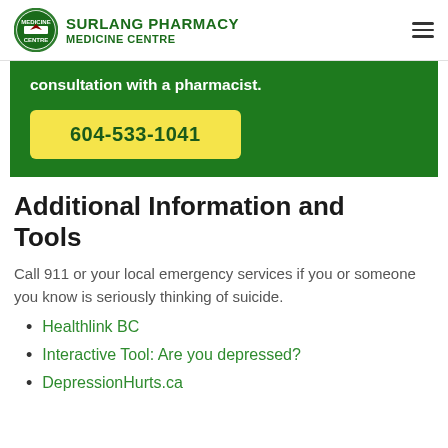SURLANG PHARMACY MEDICINE CENTRE
consultation with a pharmacist.
604-533-1041
Additional Information and Tools
Call 911 or your local emergency services if you or someone you know is seriously thinking of suicide.
Healthlink BC
Interactive Tool: Are you depressed?
DepressionHurts.ca